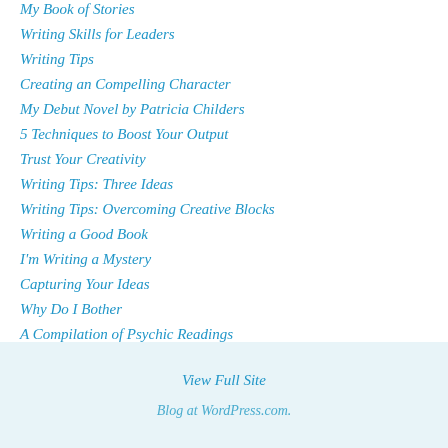My Book of Stories
Writing Skills for Leaders
Writing Tips
Creating an Compelling Character
My Debut Novel by Patricia Childers
5 Techniques to Boost Your Output
Trust Your Creativity
Writing Tips: Three Ideas
Writing Tips: Overcoming Creative Blocks
Writing a Good Book
I'm Writing a Mystery
Capturing Your Ideas
Why Do I Bother
A Compilation of Psychic Readings
View Full Site
Blog at WordPress.com.